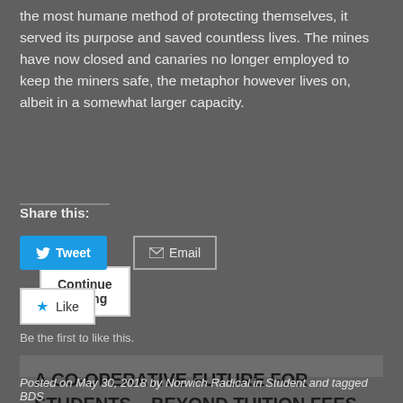the most humane method of protecting themselves, it served its purpose and saved countless lives. The mines have now closed and canaries no longer employed to keep the miners safe, the metaphor however lives on, albeit in a somewhat larger capacity.
Continue Reading
Share this:
Tweet
Email
Like
Be the first to like this.
A CO-OPERATIVE FUTURE FOR STUDENTS – BEYOND TUITION FEES #9
Posted on May 30, 2018 by Norwich Radical in Student and tagged BDS